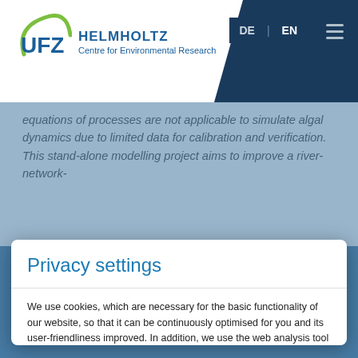[Figure (logo): UFZ Helmholtz Centre for Environmental Research logo with circular arc graphic]
equations of processes are not applicable to simulate algal dynamics due to limited data for calibration and verification. This stand-alone modelling project aims to improve a river-network-
Privacy settings
We use cookies, which are necessary for the basic functionality of our website, so that it can be continuously optimised for you and its user-friendliness improved. In addition, we use the web analysis tool Matomo, which tracks data anonymously. This enables us to statistically evaluate the use of our website. Your consent to the use of Matomo can be revoked at any time via the privacy policy.